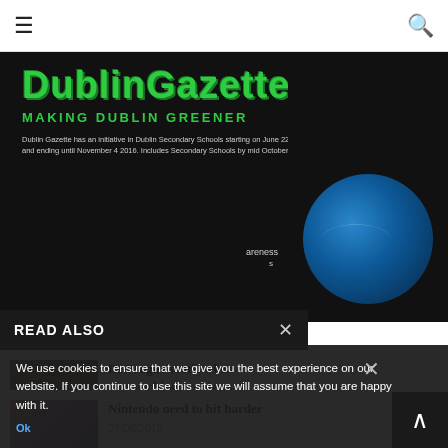≡  [DublinGazette] 🔍
[Figure (screenshot): DublinGazette website banner with green logo text 'DublinGazette' and subtitle 'MAKING DUBLIN GREENER' on black background, with a globe image on the right side]
READ ALSO
[Figure (photo): Prague street arch photo thumbnail]
Be Prague-matic when approaching problems
01/09/2016
[Figure (photo): Game screenshot thumbnail]
A challenging game to master
04/07/2015
[Figure (photo): Nintendo article thumbnail]
Nintendo need to hit harder
27/06/2015
We use cookies to ensure that we give you the best experience on our website. If you continue to use this site we will assume that you are happy with it.
Ok